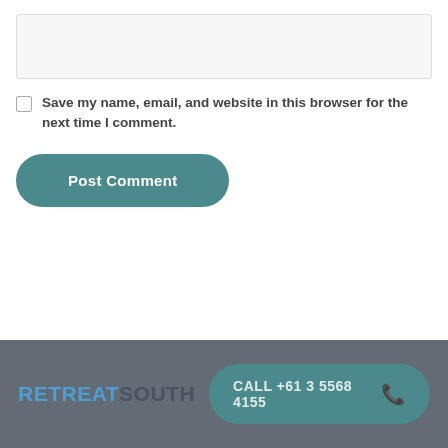[Figure (screenshot): A text input box with light gray background]
Save my name, email, and website in this browser for the next time I comment.
[Figure (screenshot): Post Comment button with teal/dark cyan rounded rectangle style]
RETREAT SOUTH   CALL +61 3 5568 4155